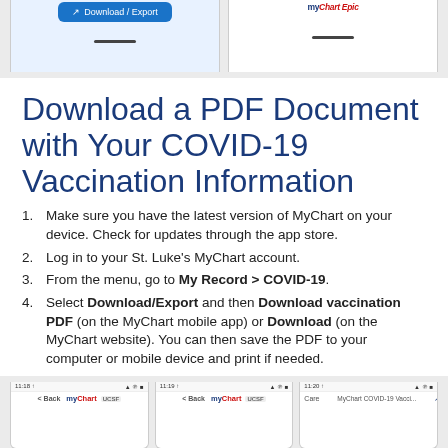[Figure (screenshot): Two phone screenshots showing MyChart app with Download/Export button and MyChart by Epic logo]
Download a PDF Document with Your COVID-19 Vaccination Information
Make sure you have the latest version of MyChart on your device. Check for updates through the app store.
Log in to your St. Luke's MyChart account.
From the menu, go to My Record > COVID-19.
Select Download/Export and then Download vaccination PDF (on the MyChart mobile app) or Download (on the MyChart website). You can then save the PDF to your computer or mobile device and print if needed.
[Figure (screenshot): Three phone screenshots showing MyChart COVID-19 vaccination screens at times 11:18, 11:19, and 11:20]